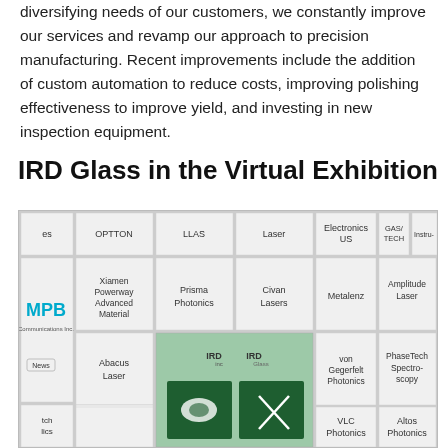diversifying needs of our customers, we constantly improve our services and revamp our approach to precision manufacturing. Recent improvements include the addition of custom automation to reduce costs, improving polishing effectiveness to improve yield, and investing in new inspection equipment.
IRD Glass in the Virtual Exhibition
[Figure (screenshot): Screenshot of a virtual exhibition floor map showing a grid of company booths. IRD Glass booth is highlighted in green at the center. Other companies visible include MPB Communications, Xiamen Powerway Advanced Material, Prisma Photonics, Civan Lasers, Metalenz, Amplitude Laser, Abacus Laser, Shenzhen XinZhenhua Opto-electronics Technology, Crylink, VLC Photonics, Altos Photonics, PhaseTech Spectroscopy, von Gegerfelt Photonics, GAS/TECH, Electronics US, LLAS, OPTTON.]